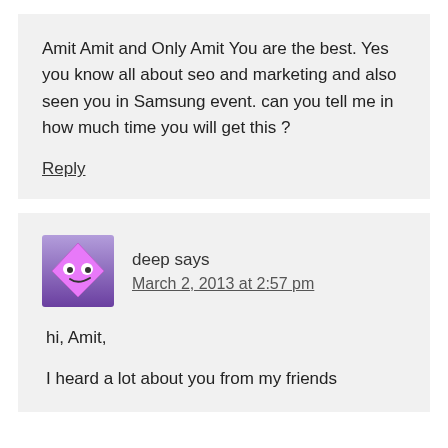Amit Amit and Only Amit You are the best. Yes you know all about seo and marketing and also seen you in Samsung event. can you tell me in how much time you will get this ?
Reply
[Figure (illustration): Avatar icon: a pink diamond shape with cartoon eyes and a smug face on a purple gradient background]
deep says
March 2, 2013 at 2:57 pm
hi, Amit,
I heard a lot about you from my friends